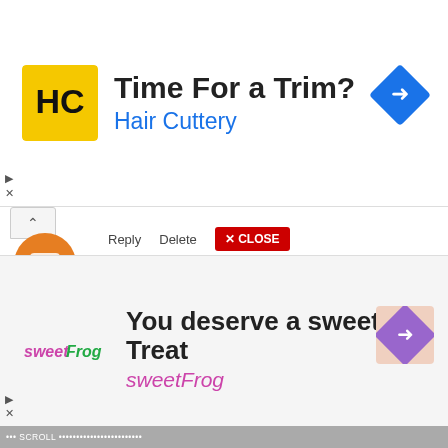[Figure (screenshot): Hair Cuttery advertisement banner with HC logo, title 'Time For a Trim?', subtitle 'Hair Cuttery', and a blue navigation arrow icon on the right]
KOLVIN ANDI
March 17, 2022 at 4:14 AM
This is such a great resource that you are providing and you give it away for free. I love seeing blog that understand the value of providing a quality resource for free . Wow! Such an amazing and helpful post this is. I really really love it. It's so good and so awesome. I am just amazed. I hope that you continue to do your work like this in the future also . Thanks for another wonderful post. Where else could anybody get that type of info in such an ideal way of writing? 🙏🙏🙏🙏🙏🙏
Reply   Delete   X CLOSE
[Figure (screenshot): sweetFrog advertisement banner with sweetFrog logo, title 'You deserve a sweet Treat', subtitle 'sweetFrog', and a navigation arrow icon on the right]